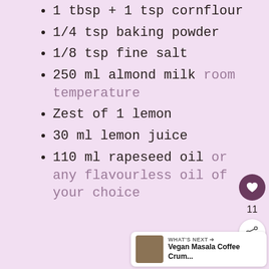1 tbsp + 1 tsp cornflour
1/4 tsp baking powder
1/8 tsp fine salt
250 ml almond milk room temperature
Zest of 1 lemon
30 ml lemon juice
110 ml rapeseed oil or any flavourless oil of your choice